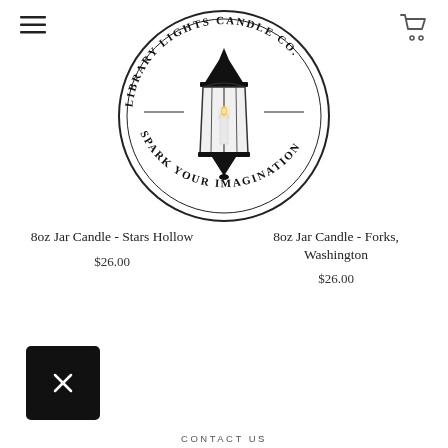[Figure (logo): Library Lights Candle Co. circular logo with a street lantern illustration in the center. Text around the top reads 'LIBRARY LIGHTS CANDLE CO.' and the bottom reads 'SPARK YOUR IMAGINATION'.]
8oz Jar Candle - Stars Hollow
$26.00
8oz Jar Candle - Forks, Washington
$26.00
[Figure (other): Black square button with a white X (close/delete) icon]
CONTACT US